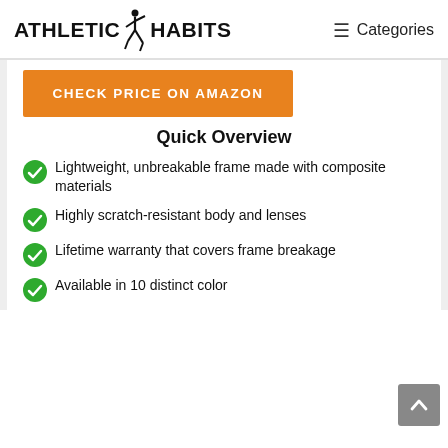ATHLETIC HABITS  ≡ Categories
CHECK PRICE ON AMAZON
Quick Overview
Lightweight, unbreakable frame made with composite materials
Highly scratch-resistant body and lenses
Lifetime warranty that covers frame breakage
Available in 10 distinct color